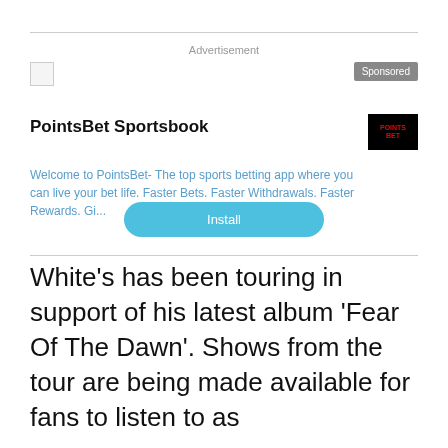Advertisement
[Figure (infographic): Advertisement block for PointsBet Sportsbook app. Contains a broken image placeholder, a Sponsored button, the PointsBet logo, app title 'PointsBet Sportsbook', description text, and an Install button.]
White’s has been touring in support of his latest album ‘Fear Of The Dawn’. Shows from the tour are being made available for fans to listen to as